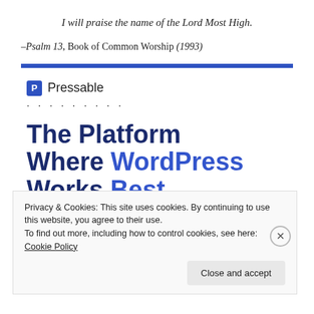I will praise the name of the Lord Most High.
–Psalm 13, Book of Common Worship (1993)
[Figure (other): Pressable logo with blue P icon and brand name]
The Platform Where WordPress Works Best
Privacy & Cookies: This site uses cookies. By continuing to use this website, you agree to their use.
To find out more, including how to control cookies, see here: Cookie Policy